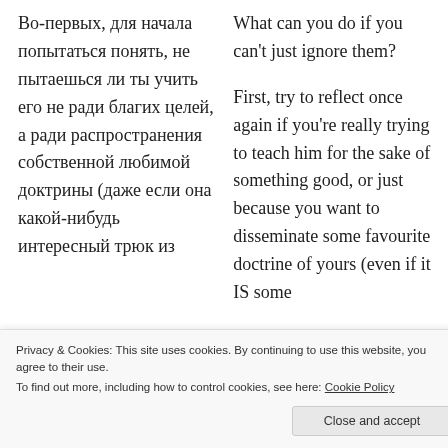Во-первых, для начала попытаться понять, не пытаешься ли ты учить его не ради благих целей, а ради распространения собственной любимой доктрины (даже если она какой-нибудь интересный трюк из
What can you do if you can't just ignore them?

First, try to reflect once again if you're really trying to teach him for the sake of something good, or just because you want to disseminate some favourite doctrine of yours (even if it IS some
Privacy & Cookies: This site uses cookies. By continuing to use this website, you agree to their use.
To find out more, including how to control cookies, see here: Cookie Policy